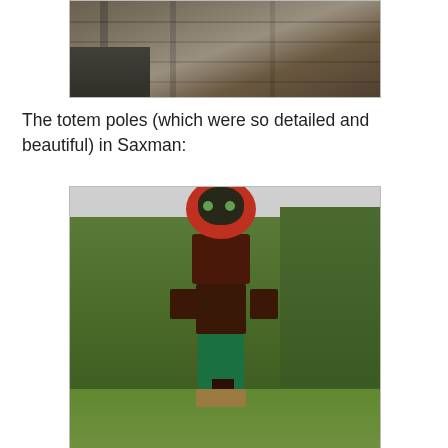[Figure (photo): Partial view of a wooden structure, possibly a historic building or dock with wooden planks and beams, appears to be construction or scaffolding near water.]
The totem poles (which were so detailed and beautiful) in Saxman:
[Figure (photo): A colorful totem pole standing in a grassy clearing surrounded by green trees and a cloudy sky in Saxman, Alaska. The totem pole features intricate carvings including a large red circular face at the top and various figures below.]